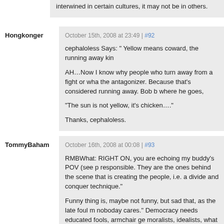interwined in certain cultures, it may not be in others.
Hongkonger
October 15th, 2008 at 23:49 | #92
cephaloless Says: " Yellow means coward, the running away kin
AH…Now I know why people who turn away from a fight or wha the antagonizer. Because that's considered running away. Bob b where he goes,
“The sun is not yellow, it's chicken….”
Thanks, cephaloless.
TommyBaham
October 16th, 2008 at 00:08 | #93
RMBWhat: RIGHT ON, you are echoing my buddy's POV (see p responsible. They are the ones behind the scene that is creating the people, i.e. a divide and conquer technique."
Funny thing is, maybe not funny, but sad that, as the late foul m noboday cares." Democracy needs educated fools, armchair ge moralists, idealists, what we call. □□□. The more the better. Peop hypersensitive, quick to cast stones, ettique bound. You know y judgemental snobs.
Thanks FREAK for your post. Some of us and/or our alter anal n